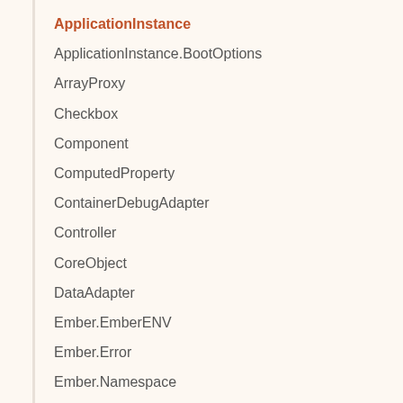ApplicationInstance
ApplicationInstance.BootOptions
ArrayProxy
Checkbox
Component
ComputedProperty
ContainerDebugAdapter
Controller
CoreObject
DataAdapter
Ember.EmberENV
Ember.Error
Ember.Namespace
Ember.NativeArray
Ember.Templates.helpers
Ember.Test
Ember.Test.QUnitAdapter
EmberArray